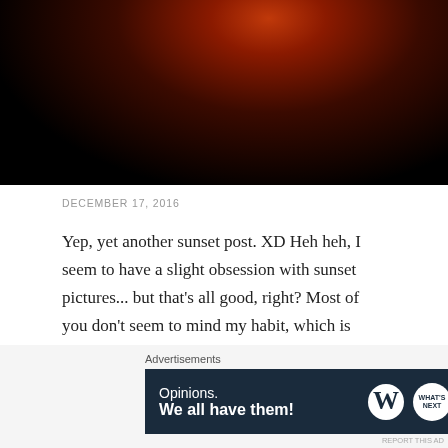[Figure (photo): Dark sunset photo with red/orange glow at the top center, fading to black. Cropped — only bottom portion visible.]
DECEMBER 17, 2016
Yep, yet another sunset post. XD Heh heh, I seem to have a slight obsession with sunset pictures... but that's all good, right? Most of you don't seem to mind my habit, which is quite good of you. Thanks. I couldn't show you pictures of sunsets without you. XD 😉
Ahem. Let's proceed.
[Figure (screenshot): WordPress advertisement banner with dark navy background. Text reads 'Opinions. We all have them!' with WordPress and What's Next logos on the right.]